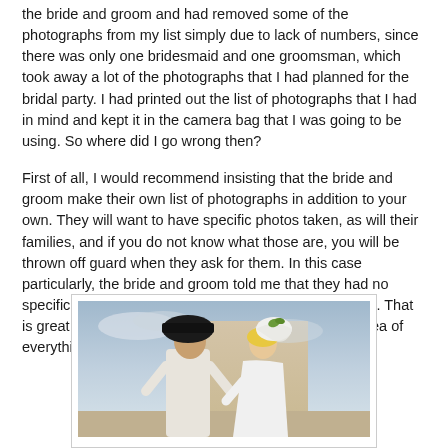the bride and groom and had removed some of the photographs from my list simply due to lack of numbers, since there was only one bridesmaid and one groomsman, which took away a lot of the photographs that I had planned for the bridal party. I had printed out the list of photographs that I had in mind and kept it in the camera bag that I was going to be using. So where did I go wrong then?
First of all, I would recommend insisting that the bride and groom make their own list of photographs in addition to your own. They will want to have specific photos taken, as will their families, and if you do not know what those are, you will be thrown off guard when they ask for them. In this case particularly, the bride and groom told me that they had no specific requests and that they just wanted "everything". That is great and all, but your everything may not be their idea of everything and can lead to slight chaos.
[Figure (photo): A photograph showing a couple outdoors, the man on the left wearing white and holding a dark hat over his face, and the woman on the right in white with a veil/hat, against a light sandy wall and cloudy sky background.]